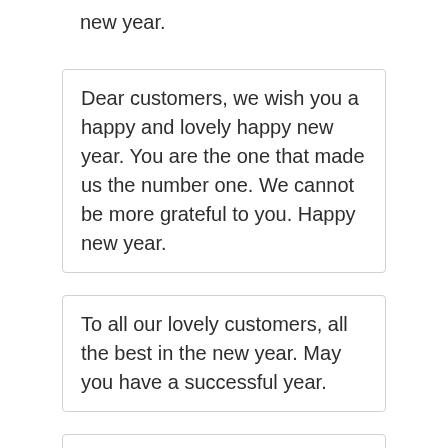new year.
Dear customers, we wish you a happy and lovely happy new year. You are the one that made us the number one. We cannot be more grateful to you. Happy new year.
To all our lovely customers, all the best in the new year. May you have a successful year.
All our prayers and best wishes for a happy new year! Wishing you a Happy New Year.